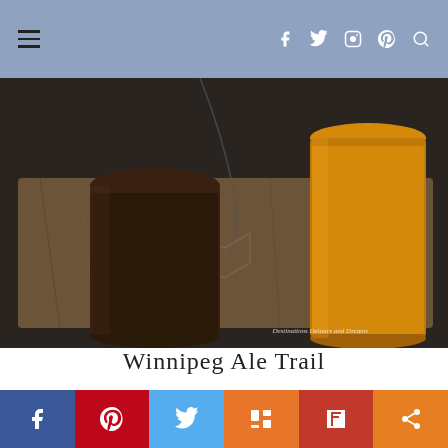Navigation bar with hamburger menu and social icons
[Figure (photo): Close-up photo of craft beer glasses on a wooden serving board/tray. Two glasses visible — one dark beer on the left, one golden/orange beer on the right. Watermark reads 'Destinations Detours and Dreams' in bottom right corner.]
Winnipeg Ale Trail
74 COMMENTS
[Figure (infographic): Social sharing bar with six buttons: Facebook (blue), Pinterest (red), Twitter (light blue), Mix (orange), Flipboard (dark red), Share (orange)]